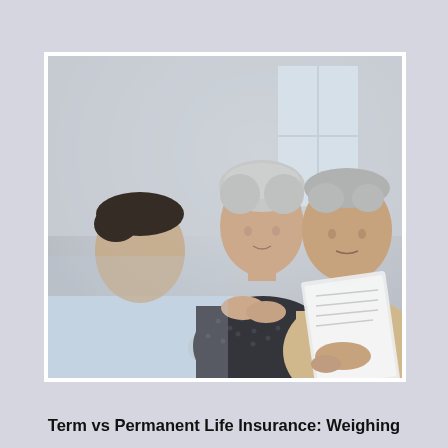[Figure (photo): A financial advisor or insurance agent (young man in light blue shirt, seen from behind/side) meets with an older couple (grey-haired woman in dark blouse and older man in beige shirt) who are reviewing a document together.]
Term vs Permanent Life Insurance: Weighing